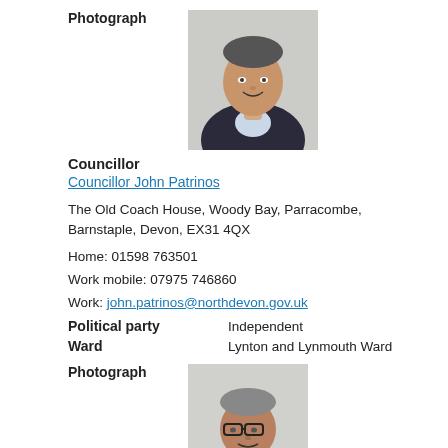[Figure (photo): Photograph of Councillor John Patrinos, a middle-aged man in a dark jacket and light shirt, smiling]
Photograph
Councillor
Councillor John Patrinos
The Old Coach House, Woody Bay, Parracombe, Barnstaple, Devon, EX31 4QX
Home: 01598 763501
Work mobile: 07975 746860
Work: john.patrinos@northdevon.gov.uk
Political party   Independent
Ward   Lynton and Lynmouth Ward
[Figure (photo): Photograph of a second councillor, an older man with glasses and grey hair]
Photograph